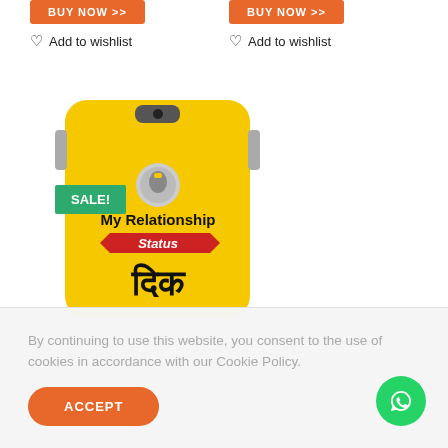[Figure (other): Orange BUY NOW >> button (left column)]
♡ Add to wishlist
[Figure (other): Orange BUY NOW >> button (right column)]
♡ Add to wishlist
[Figure (photo): Yellow phone case with SALE! badge in green, featuring text 'My Relationship Status' in Hindi/English on a yellow background]
By continuing to use this website, you consent to the use of cookies in accordance with our Cookie Policy.
[Figure (other): ACCEPT button (orange rounded rectangle)]
[Figure (other): WhatsApp floating button (green circle with WhatsApp icon)]